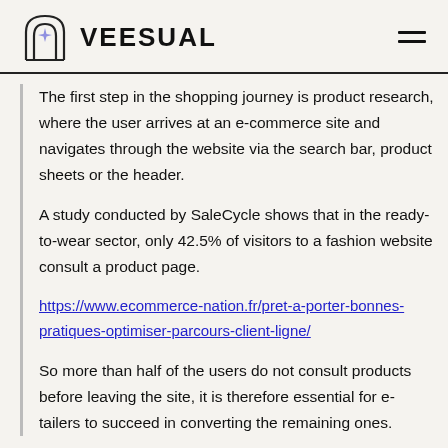VEESUAL
The first step in the shopping journey is product research, where the user arrives at an e-commerce site and navigates through the website via the search bar, product sheets or the header.
A study conducted by SaleCycle shows that in the ready-to-wear sector, only 42.5% of visitors to a fashion website consult a product page.
https://www.ecommerce-nation.fr/pret-a-porter-bonnes-pratiques-optimiser-parcours-client-ligne/
So more than half of the users do not consult products before leaving the site, it is therefore essential for e-tailers to succeed in converting the remaining ones.